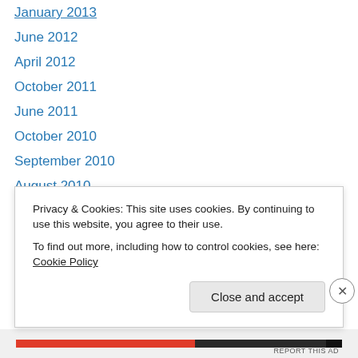January 2013
June 2012
April 2012
October 2011
June 2011
October 2010
September 2010
August 2010
May 2010
April 2010
March 2010
February 2010
January 2010
Privacy & Cookies: This site uses cookies. By continuing to use this website, you agree to their use. To find out more, including how to control cookies, see here: Cookie Policy
Close and accept